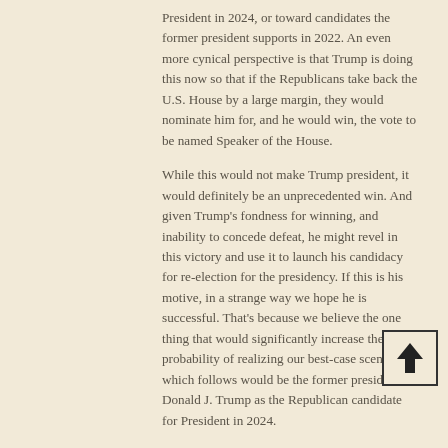President in 2024, or toward candidates the former president supports in 2022. An even more cynical perspective is that Trump is doing this now so that if the Republicans take back the U.S. House by a large margin, they would nominate him for, and he would win, the vote to be named Speaker of the House.
While this would not make Trump president, it would definitely be an unprecedented win. And given Trump's fondness for winning, and inability to concede defeat, he might revel in this victory and use it to launch his candidacy for re-election for the presidency. If this is his motive, in a strange way we hope he is successful. That's because we believe the one thing that would significantly increase the probability of realizing our best-case scenario which follows would be the former president Donald J. Trump as the Republican candidate for President in 2024.